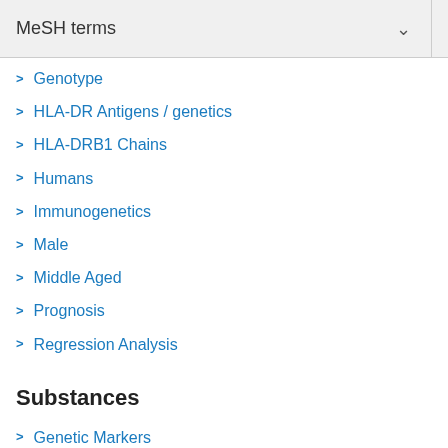MeSH terms
Genotype
HLA-DR Antigens / genetics
HLA-DRB1 Chains
Humans
Immunogenetics
Male
Middle Aged
Prognosis
Regression Analysis
Substances
Genetic Markers
HLA-DR Antigens
HLA-DRB1 Chains
C-Reactive Protein